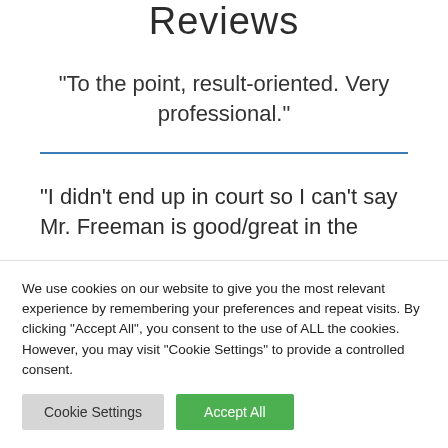Reviews
“To the point, result-oriented. Very professional.”
“I didn’t end up in court so I can’t say Mr. Freeman is good/great in the
We use cookies on our website to give you the most relevant experience by remembering your preferences and repeat visits. By clicking “Accept All”, you consent to the use of ALL the cookies. However, you may visit "Cookie Settings" to provide a controlled consent.
Cookie Settings | Accept All